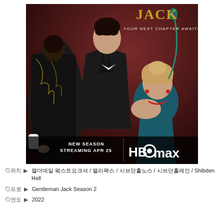[Figure (photo): Promotional poster for Gentleman Jack Season 2 on HBO Max. Three women in Victorian-era period costumes pose against a dark red background. Text reads 'YOUR NEXT CHAPTER AWAITS.' at the top right. Bottom shows 'NEW SEASON STREAMING APR 25' and the HBO Max logo.]
◎위치 ▶ 캘더데일 웨스트요크셔 / 핼리팩스 / 시브던홀노스 / 시브던홀레인 / Shibden Hall
◎프로 ▶ Gentleman Jack Season 2
◎연도 ▶ 2022